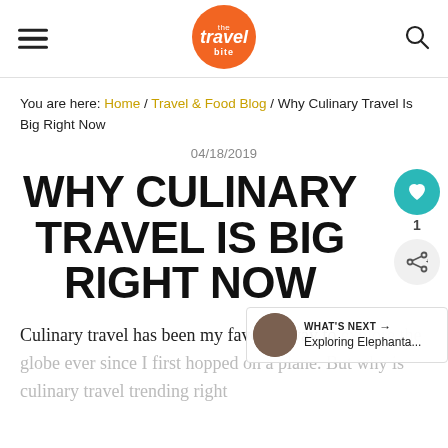The Travel Bite
You are here: Home / Travel & Food Blog / Why Culinary Travel Is Big Right Now
04/18/2019
WHY CULINARY TRAVEL IS BIG RIGHT NOW
Culinary travel has been my favorite way to explore the globe ever since I first hopped on a plane. But why is culinary travel trending right